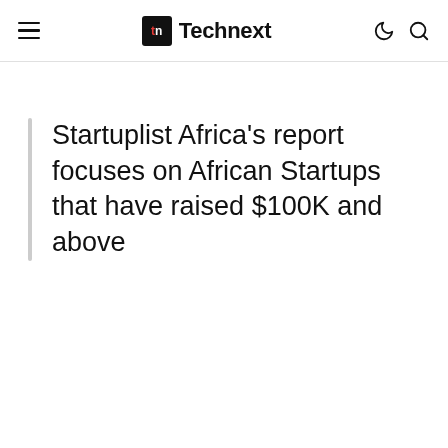Technext
Startuplist Africa's report focuses on African Startups that have raised $100K and above